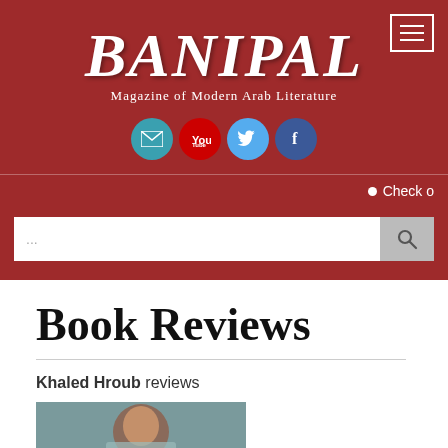[Figure (logo): Banipal magazine logo — large white serif italic text 'BANIPAL' with subtitle 'Magazine of Modern Arab Literature' on dark red background, with hamburger menu button top right]
[Figure (infographic): Four social media circular icon buttons: email (teal), YouTube (red), Twitter (blue), Facebook (dark blue)]
• Check o
...
Book Reviews
Khaled Hroub reviews
[Figure (photo): Partial photo of a person, cropped at bottom of page]